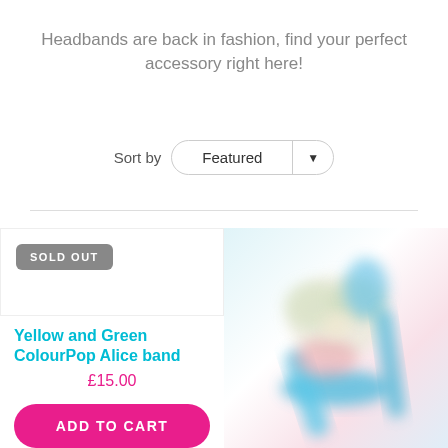Headbands are back in fashion, find your perfect accessory right here!
Sort by  Featured
[Figure (other): Product card area: left card shows 'SOLD OUT' badge, no product image visible, with title 'Yellow and Green ColourPop Alice band', price £15.00, and pink ADD TO CART button. Right side shows a blurred photo of a blue and multicolor fabric alice band/headband.]
Yellow and Green ColourPop Alice band
£15.00
ADD TO CART